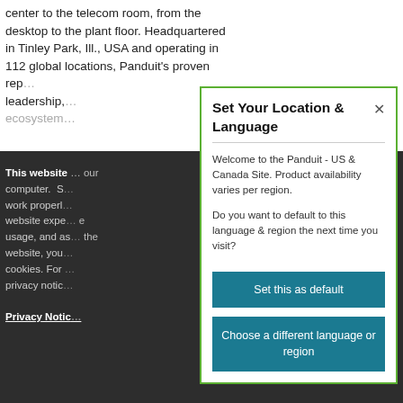center to the telecom room, from the desktop to the plant floor. Headquartered in Tinley Park, Ill., USA and operating in 112 global locations, Panduit’s proven rep… leadership,… ecosystem…
This website … our computer. S… work properl… website expe… e usage, and as… the website, you… cookies. For … privacy notic…
Privacy Notic…
Set Your Location & Language
Welcome to the Panduit - US & Canada Site. Product availability varies per region.

Do you want to default to this language & region the next time you visit?
Set this as default
Choose a different language or region